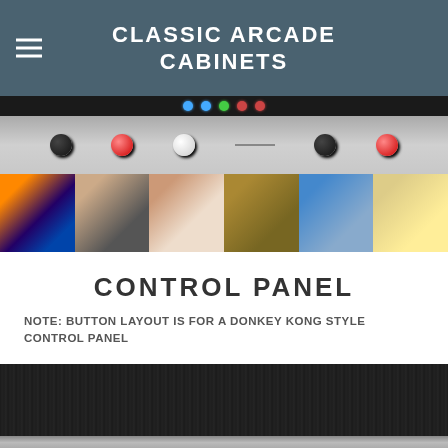CLASSIC ARCADE CABINETS
[Figure (photo): Close-up photo of an arcade cabinet control panel with red and white buttons]
[Figure (photo): Row of six thumbnail photos: arcade cabinet with colorful screen, cabinet interior, cardboard/schematic, boxed cabinet, blue panel piece, measuring tape]
CONTROL PANEL
NOTE: BUTTON LAYOUT IS FOR A DONKEY KONG STYLE CONTROL PANEL
[Figure (photo): Close-up photo of a dark wooden control panel surface with a metallic strip/bracket at the bottom]